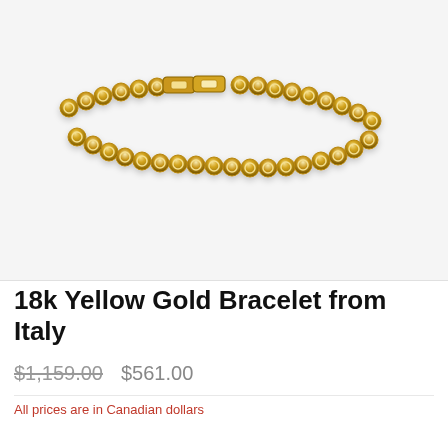[Figure (photo): Gold rolo-link chain bracelet with box clasp, photographed on white background]
18k Yellow Gold Bracelet from Italy
$1,159.00   $561.00
All prices are in Canadian dollars